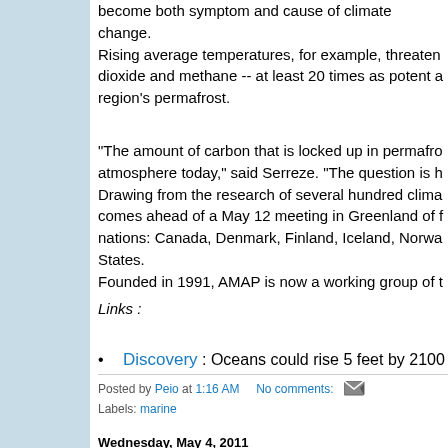become both symptom and cause of climate change. Rising average temperatures, for example, threaten dioxide and methane -- at least 20 times as potent a region's permafrost.
"The amount of carbon that is locked up in permafrost atmosphere today," said Serreze. "The question is h Drawing from the research of several hundred clima comes ahead of a May 12 meeting in Greenland of f nations: Canada, Denmark, Finland, Iceland, Norwa States.
Founded in 1991, AMAP is now a working group of t
Links :
Discovery : Oceans could rise 5 feet by 2100
Posted by Peio at 1:16 AM   No comments:   [email icon]
Labels: marine
Wednesday, May 4, 2011